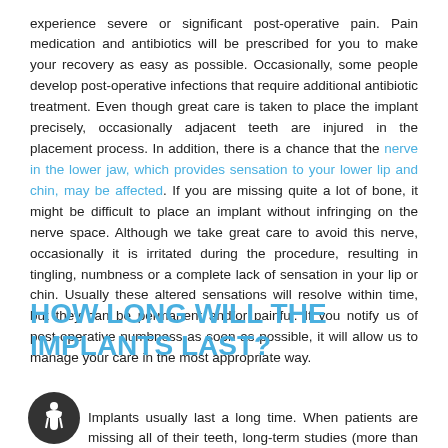experience severe or significant post-operative pain. Pain medication and antibiotics will be prescribed for you to make your recovery as easy as possible. Occasionally, some people develop post-operative infections that require additional antibiotic treatment. Even though great care is taken to place the implant precisely, occasionally adjacent teeth are injured in the placement process. In addition, there is a chance that the nerve in the lower jaw, which provides sensation to your lower lip and chin, may be affected. If you are missing quite a lot of bone, it might be difficult to place an implant without infringing on the nerve space. Although we take great care to avoid this nerve, occasionally it is irritated during the procedure, resulting in tingling, numbness or a complete lack of sensation in your lip or chin. Usually these altered sensations will resolve within time, but they can be permanent and/or painful. If you notify us of post-operative numbness as soon as possible, it will allow us to manage your care in the most appropriate way.
HOW LONG WILL THE IMPLANTS LAST?
Implants usually last a long time. When patients are missing all of their teeth, long-term studies (more than 30 years) show an 80 to 90 percent success rate. For patients missing one or several